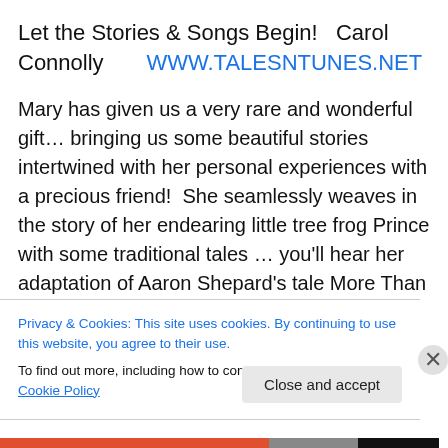Let the Stories & Songs Begin!   Carol Connolly       WWW.TALESNTUNES.NET
Mary has given us a very rare and wonderful gift… bringing us some beautiful stories intertwined with her personal experiences with a precious friend!  She seamlessly weaves in the story of her endearing little tree frog Prince with some traditional tales … you'll hear her adaptation of Aaron Shepard's tale More Than a Match… with an assist from some delightful little friends.  Listen in to Story Lovers World and enjoy your journey from “here”
Privacy & Cookies: This site uses cookies. By continuing to use this website, you agree to their use.
To find out more, including how to control cookies, see here: Cookie Policy